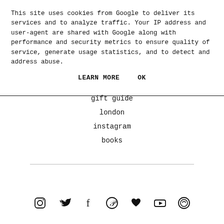This site uses cookies from Google to deliver its services and to analyze traffic. Your IP address and user-agent are shared with Google along with performance and security metrics to ensure quality of service, generate usage statistics, and to detect and address abuse.
LEARN MORE   OK
gift guide
london
instagram
books
[Figure (other): Row of social media icons: Instagram, Twitter, Facebook, Pinterest, heart/Bloglovin, YouTube, and a circular smiley/copyright icon]